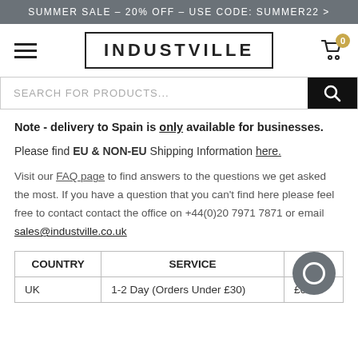SUMMER SALE – 20% OFF – USE CODE: SUMMER22 >
[Figure (screenshot): Industville website navigation bar with hamburger menu, INDUSTVILLE logo in bordered box, and shopping cart icon with badge showing 0]
[Figure (screenshot): Search bar with text SEARCH FOR PRODUCTS... and black search button]
Note - delivery to Spain is only available for businesses.
Please find EU & NON-EU Shipping Information here.
Visit our FAQ page to find answers to the questions we get asked the most. If you have a question that you can't find here please feel free to contact contact the office on +44(0)20 7971 7871 or email sales@industville.co.uk
| COUNTRY | SERVICE | COST |
| --- | --- | --- |
| UK | 1-2 Day (Orders Under £30) | £6.50 |